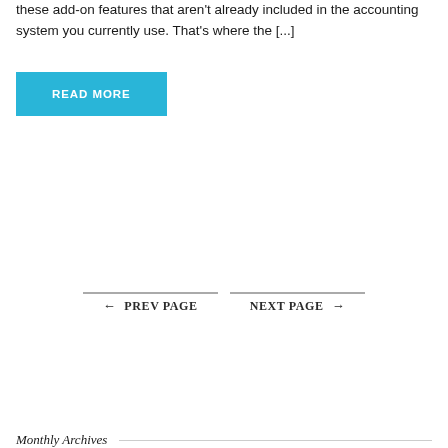these add-on features that aren't already included in the accounting system you currently use. That's where the [...]
READ MORE
← PREV PAGE
NEXT PAGE →
Monthly Archives